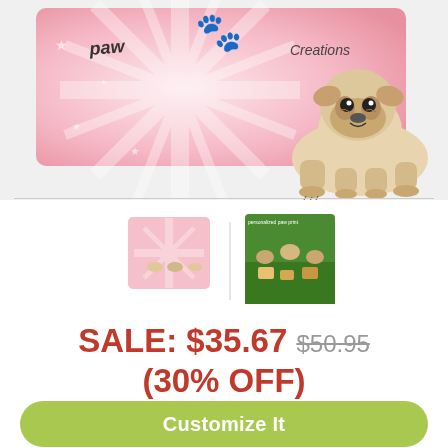[Figure (photo): Pink banner with pug dog product image at top. Banner shows a pug lying down on right, pink starburst background with stars and decorative text.]
[Figure (photo): Two product thumbnail images: first shows pink design with small dog figures, second shows dogs on green grass background.]
SALE: $35.67 $50.95 (30% OFF)
Get it by Sep. 6 (Calculate Cost)
Customize It